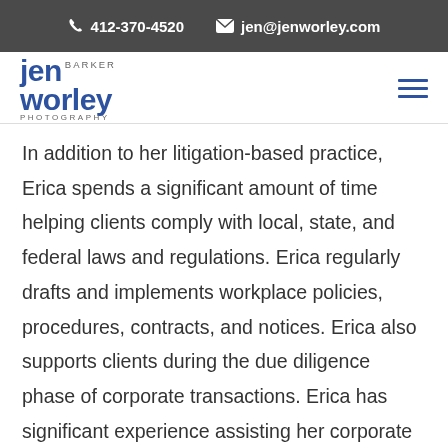412-370-4520  jen@jenworley.com
[Figure (logo): Jen Barker Worley Photography logo with hamburger menu icon]
In addition to her litigation-based practice, Erica spends a significant amount of time helping clients comply with local, state, and federal laws and regulations. Erica regularly drafts and implements workplace policies, procedures, contracts, and notices. Erica also supports clients during the due diligence phase of corporate transactions. Erica has significant experience assisting her corporate lawyer colleagues with investigations and characterizations of